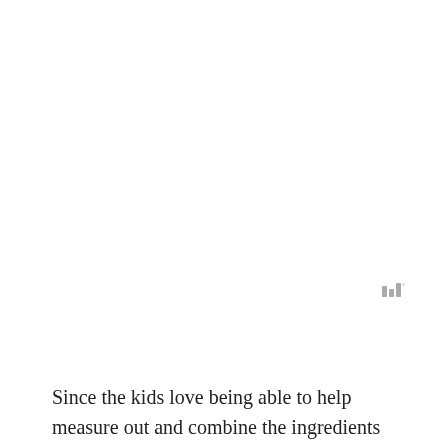[Figure (logo): Three vertical bars of varying heights with a degree symbol, rendered in gray, resembling a stylized logo or watermark]
Since the kids love being able to help measure out and combine the ingredients when we prepare food, this recipe for Herb Cheese is a favorite.